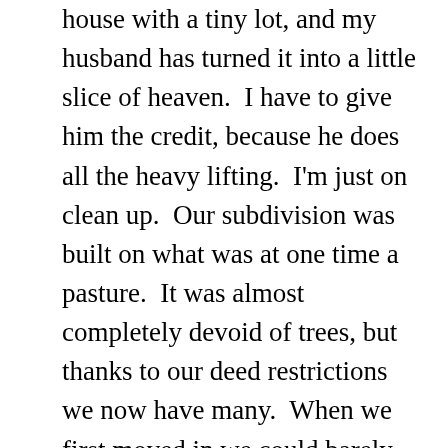house with a tiny lot, and my husband has turned it into a little slice of heaven.  I have to give him the credit, because he does all the heavy lifting.  I'm just on clean up.  Our subdivision was built on what was at one time a pasture.  It was almost completely devoid of trees, but thanks to our deed restrictions we now have many.  When we first moved in we could barely sit on our patio because of the wind.  Like the song says, Oklahoma is where the wind comes sweeping down the plains, and our backyard was like a wind tunnel for about five years until our landscaping matured.  Now it is a very pleasant place to sit and we have even installed some ceiling fans to stir up a breeze.  Time changes things.